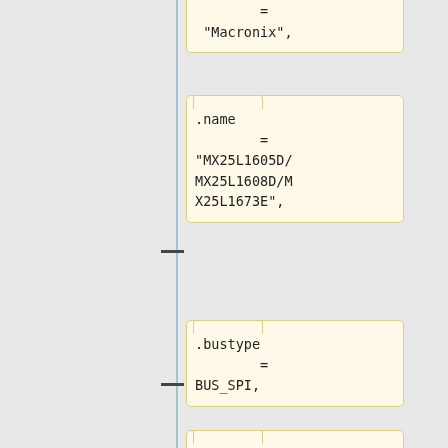= "Macronix",
.name
        =
"MX25L1605D/MX25L1608D/MX25L1673E",
.bustype
        =
BUS_SPI,
.manufacturer_id =
MACRONIX_ID,
.model_id
        = 0x14,